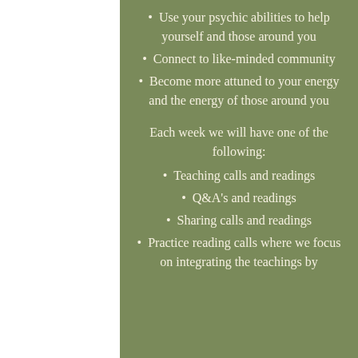Use your psychic abilities to help yourself and those around you
Connect to like-minded community
Become more attuned to your energy and the energy of those around you
Each week we will have one of the following:
Teaching calls and readings
Q&A's and readings
Sharing calls and readings
Practice reading calls where we focus on integrating the teachings by